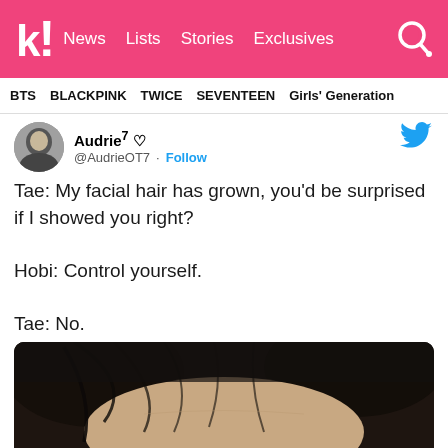koreaboo News Lists Stories Exclusives
BTS  BLACKPINK  TWICE  SEVENTEEN  Girls' Generation
[Figure (screenshot): Tweet from @AudrieOT7 with profile picture and Twitter bird icon, with Follow button]
Tae: My facial hair has grown, you'd be surprised if I showed you right?

Hobi: Control yourself.

Tae: No.
[Figure (photo): Close-up photo of a person's forehead and dark hair, cropped at bottom of page]